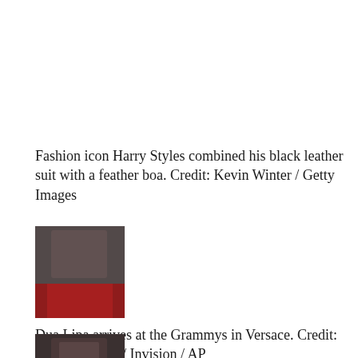Fashion icon Harry Styles combined his black leather suit with a feather boa. Credit: Kevin Winter / Getty Images
[Figure (photo): Small blurred thumbnail photo of a person, with a dark upper portion and red lower portion, likely showing Dua Lipa at the Grammys]
Dua Lipa arrives at the Grammys in Versace. Credit: Jordan Strauss / Invision / AP
[Figure (photo): Small blurred thumbnail photo of a person with dark hair, partially visible at the bottom of the page]